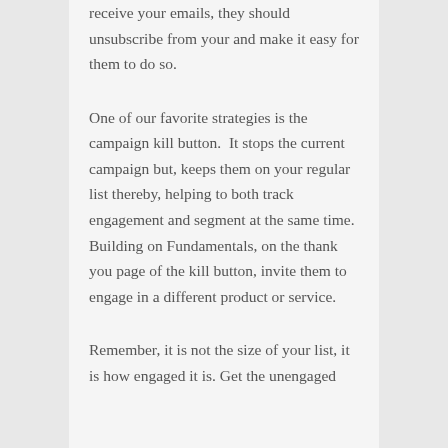receive your emails, they should unsubscribe from your and make it easy for them to do so.
One of our favorite strategies is the campaign kill button.  It stops the current campaign but, keeps them on your regular list thereby, helping to both track engagement and segment at the same time.  Building on Fundamentals, on the thank you page of the kill button, invite them to engage in a different product or service.
Remember, it is not the size of your list, it is how engaged it is. Get the unengaged